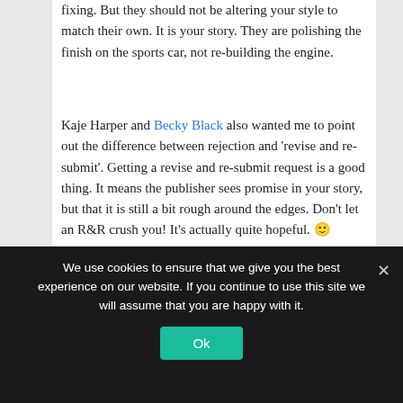fixing. But they should not be altering your style to match their own. It is your story. They are polishing the finish on the sports car, not re-building the engine.
Kaje Harper and Becky Black also wanted me to point out the difference between rejection and 'revise and re-submit'. Getting a revise and re-submit request is a good thing. It means the publisher sees promise in your story, but that it is still a bit rough around the edges. Don't let an R&R crush you! It's actually quite hopeful. 🙂
6. Don't game the system: I mean, seriously. There's a big difference between recognizing and taking advantage of market trends (something I'm not very good at, but I know people who are) and writing simply to make a buck. Face it, if you want to make money, there are far easier ways of
We use cookies to ensure that we give you the best experience on our website. If you continue to use this site we will assume that you are happy with it.